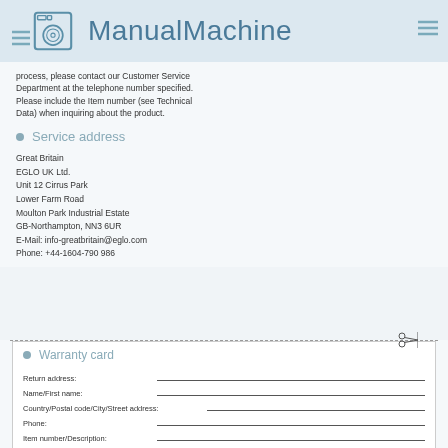ManualMachine
process, please contact our Customer Service Department at the telephone number specified. Please include the Item number (see Technical Data) when inquiring about the product.
Service address
Great Britain
EGLO UK Ltd.
Unit 12 Cirrus Park
Lower Farm Road
Moulton Park Industrial Estate
GB-Northampton, NN3 6UR
E-Mail: info-greatbritain@eglo.com
Phone: +44-1604-790 986
Warranty card
Return address:
Name/First name:
Country/Postal code/City/Street address:
Phone:
Item number/Description:
Purchase date/Point of purchase: